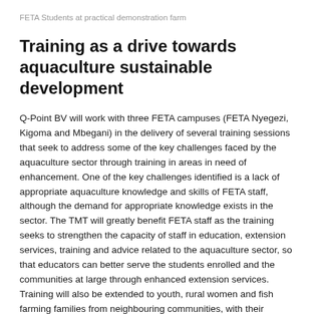FETA Students at practical demonstration farm
Training as a drive towards aquaculture sustainable development
Q-Point BV will work with three FETA campuses (FETA Nyegezi, Kigoma and Mbegani) in the delivery of several training sessions that seek to address some of the key challenges faced by the aquaculture sector through training in areas in need of enhancement. One of the key challenges identified is a lack of appropriate aquaculture knowledge and skills of FETA staff, although the demand for appropriate knowledge exists in the sector. The TMT will greatly benefit FETA staff as the training seeks to strengthen the capacity of staff in education, extension services, training and advice related to the aquaculture sector, so that educators can better serve the students enrolled and the communities at large through enhanced extension services. Training will also be extended to youth, rural women and fish farming families from neighbouring communities, with their participation essential in